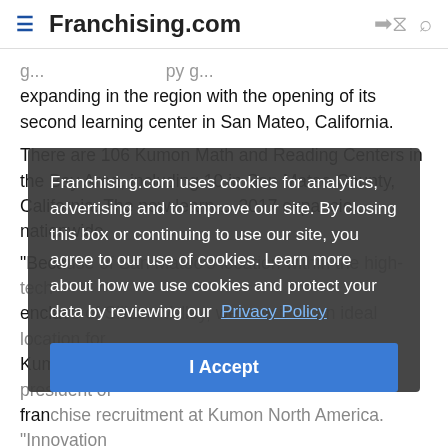Franchising.com
expanding in the region with the opening of its second learning center in San Mateo, California.
There are 106 Kumon Math and Reading Centers in the Bay Area, including 10 in San Mateo County, California. The new learning center is an associate of Kumon's 2017 expansion to 30,000 students nationwide.
"Because of San Mateo's location within the high-tech enclave of Silicon Valley, we saw it as an ideal location for Kumon's expansion," said Larry Lambert, vice president of franchise recruitment at Kumon North America. "Innovation is such a prevalent part of Silicon Valley and because of that we see a great deal of importance placed on education opportunities in the area. We are committed to deliver the highest quality of education that parents of San M...
Franchising.com uses cookies for analytics, advertising and to improve our site. By closing this box or continuing to use our site, you agree to our use of cookies. Learn more about how we use cookies and protect your data by reviewing our Privacy Policy
I Accept